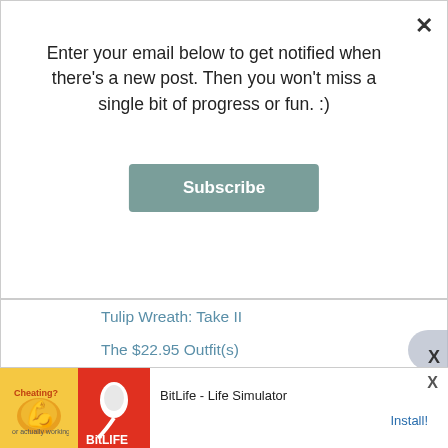Enter your email below to get notified when there's a new post. Then you won't miss a single bit of progress or fun. :)
Subscribe
Tulip Wreath: Take II
The $22.95 Outfit(s)
Made by Kely & Dave
The State of Toddleropolis
Pom Poms + A Lamp Shade
A Basket Case
Sharp Corners
► April (6)
► March (6)
[Figure (screenshot): Ad banner for BitLife - Life Simulator game, showing Ad label, illustrated character images, app name, and Install button]